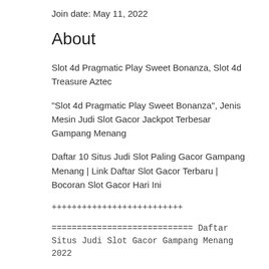Join date: May 11, 2022
About
Slot 4d Pragmatic Play Sweet Bonanza, Slot 4d Treasure Aztec
"Slot 4d Pragmatic Play Sweet Bonanza", Jenis Mesin Judi Slot Gacor Jackpot Terbesar Gampang Menang
Daftar 10 Situs Judi Slot Paling Gacor Gampang Menang | Link Daftar Slot Gacor Terbaru | Bocoran Slot Gacor Hari Ini
++++++++++++++++++++++++++
============================ Daftar Situs Judi Slot Gacor Gampang Menang 2022